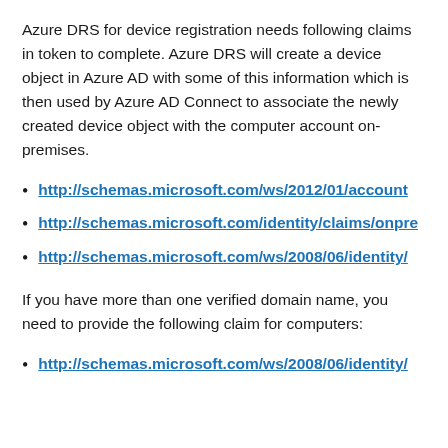Azure DRS for device registration needs following claims in token to complete. Azure DRS will create a device object in Azure AD with some of this information which is then used by Azure AD Connect to associate the newly created device object with the computer account on-premises.
http://schemas.microsoft.com/ws/2012/01/account...
http://schemas.microsoft.com/identity/claims/onpre...
http://schemas.microsoft.com/ws/2008/06/identity/...
If you have more than one verified domain name, you need to provide the following claim for computers:
http://schemas.microsoft.com/ws/2008/06/identity/...